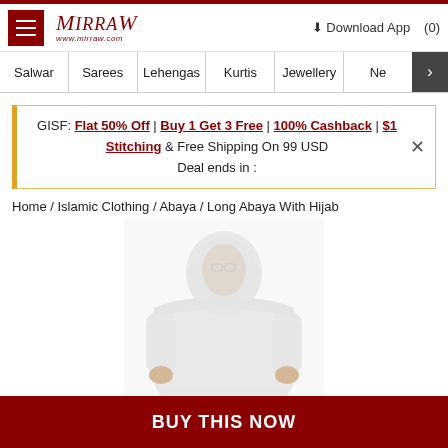Mirraw - www.mirraw.com - Download App - (0)
Salwar | Sarees | Lehengas | Kurtis | Jewellery | Ne >
GISF: Flat 50% Off | Buy 1 Get 3 Free | 100% Cashback | $1 Stitching & Free Shipping On 99 USD
Deal ends in :
Home / Islamic Clothing / Abaya / Long Abaya With Hijab
[Figure (photo): Woman wearing a white long abaya with hijab, shown from the waist up, against a white background.]
BUY THIS NOW